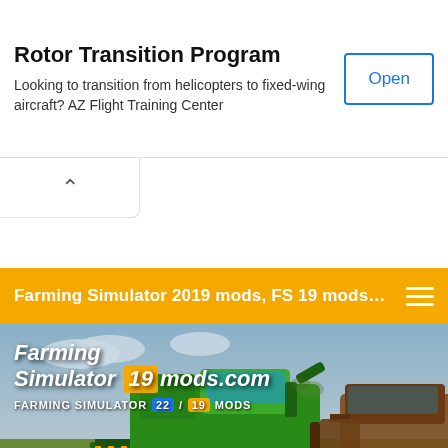Rotor Transition Program
Looking to transition from helicopters to fixed-wing aircraft? AZ Flight Training Center
[Figure (screenshot): Open button for ad]
[Figure (screenshot): Collapse chevron button]
[Figure (screenshot): Farming Simulator 2019 mods, FS 19 mods... orange navigation bar with hamburger menu]
[Figure (illustration): Farming Simulator 19 mods website banner showing green combine harvester on field. Logo reads 'Farming Simulator 19 mods.com' and 'FARMING SIMULATOR 22 / 19 MODS']